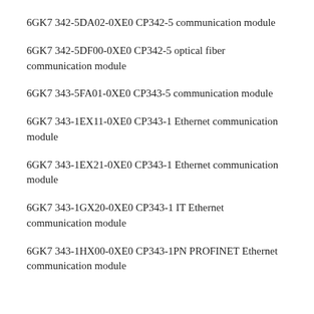6GK7 342-5DA02-0XE0 CP342-5 communication module
6GK7 342-5DF00-0XE0 CP342-5 optical fiber communication module
6GK7 343-5FA01-0XE0 CP343-5 communication module
6GK7 343-1EX11-0XE0 CP343-1 Ethernet communication module
6GK7 343-1EX21-0XE0 CP343-1 Ethernet communication module
6GK7 343-1GX20-0XE0 CP343-1 IT Ethernet communication module
6GK7 343-1HX00-0XE0 CP343-1PN PROFINET Ethernet communication module